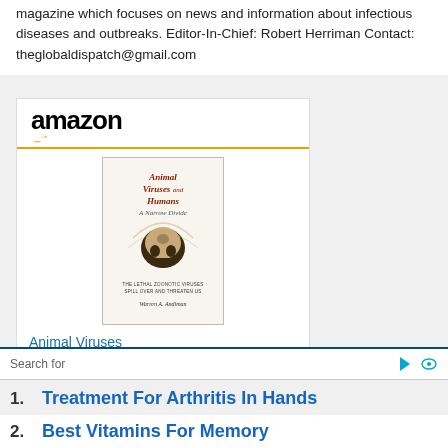magazine which focuses on news and information about infectious diseases and outbreaks. Editor-In-Chief: Robert Herriman Contact: theglobaldispatch@gmail.com
[Figure (advertisement): Amazon advertisement for the book 'Animal Viruses and Humans, a...' priced at $12.49 with Prime badge and a Shop now button. Shows book cover with skull imagery and author Warren A. Andiman.]
Animal Viruses and Humans, a...
$12.49
Search for
1. Treatment For Arthritis In Hands
2. Best Vitamins For Memory